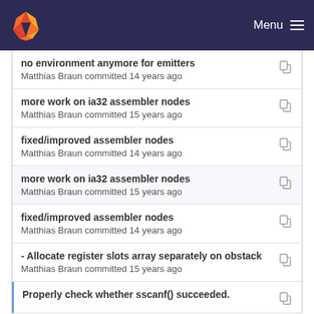Menu
no environment anymore for emitters
Matthias Braun committed 14 years ago
more work on ia32 assembler nodes
Matthias Braun committed 15 years ago
fixed/improved assembler nodes
Matthias Braun committed 14 years ago
more work on ia32 assembler nodes
Matthias Braun committed 15 years ago
fixed/improved assembler nodes
Matthias Braun committed 14 years ago
- Allocate register slots array separately on obstack
Matthias Braun committed 15 years ago
Properly check whether sscanf() succeeded.
Imprint